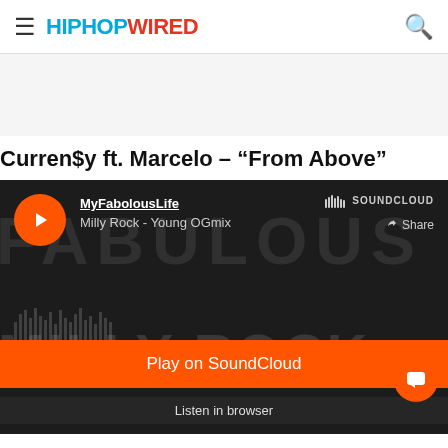HipHopWired
Curren$y ft. Marcelo – "From Above"
[Figure (screenshot): SoundCloud embedded player showing MyFabolousLife - Milly Rock - Young OGmix, with orange play button, SoundCloud logo, Share option, Play on SoundCloud orange bar, and Listen in browser text, on a dark background with decorative FABULOUS text overlay]